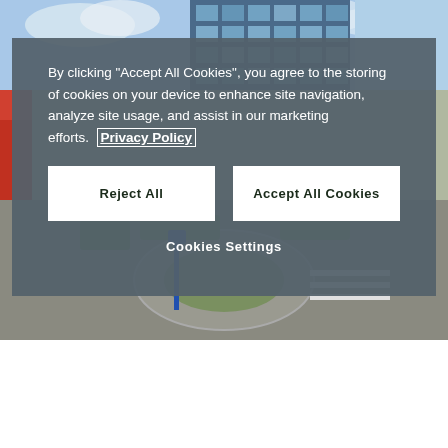[Figure (photo): Aerial/street-level photo of a modern office building with glass facade at top, and a roundabout intersection with roads, bushes, and a red building on the left, blue sky visible.]
By clicking “Accept All Cookies”, you agree to the storing of cookies on your device to enhance site navigation, analyze site usage, and assist in our marketing efforts. Privacy Policy
Reject All
Accept All Cookies
Cookies Settings